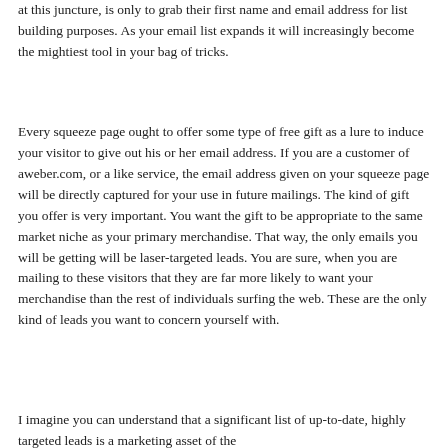at this juncture, is only to grab their first name and email address for list building purposes. As your email list expands it will increasingly become the mightiest tool in your bag of tricks.
Every squeeze page ought to offer some type of free gift as a lure to induce your visitor to give out his or her email address. If you are a customer of aweber.com, or a like service, the email address given on your squeeze page will be directly captured for your use in future mailings. The kind of gift you offer is very important. You want the gift to be appropriate to the same market niche as your primary merchandise. That way, the only emails you will be getting will be laser-targeted leads. You are sure, when you are mailing to these visitors that they are far more likely to want your merchandise than the rest of individuals surfing the web. These are the only kind of leads you want to concern yourself with.
I imagine you can understand that a significant list of up-to-date, highly targeted leads is a marketing asset of the